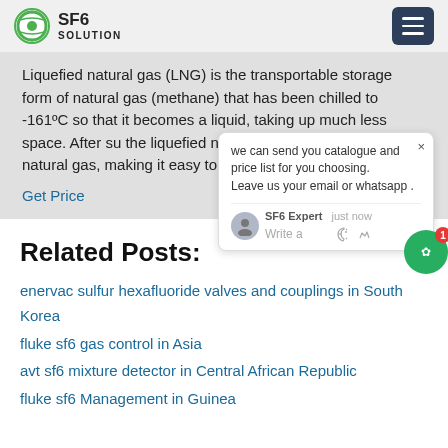SF6 SOLUTION
Liquefied natural gas (LNG) is the transportable storage form of natural gas (methane) that has been chilled to -161ºC so that it becomes a liquid, taking up much less space. After su... the liquefied natural gas is 1/600th the v... natural gas, making it easy to transp...
Get Price
Related Posts:
enervac sulfur hexafluoride valves and couplings in South Korea
fluke sf6 gas control in Asia
avt sf6 mixture detector in Central African Republic
fluke sf6 Management in Guinea